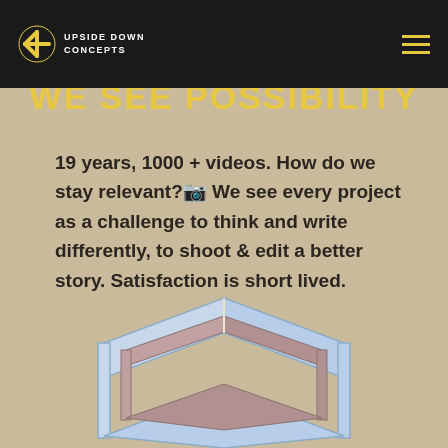Upside Down Concepts
WE SEE POSSIBILITY
19 years, 1000 + videos. How do we stay relevant?🔲 We see every project as a challenge to think and write differently, to shoot & edit a better story. Satisfaction is short lived.
[Figure (illustration): 3D isometric line drawing of an impossible cube/box structure with light blue and mauve/brown colored edges, partially visible at bottom of page against sandy background]